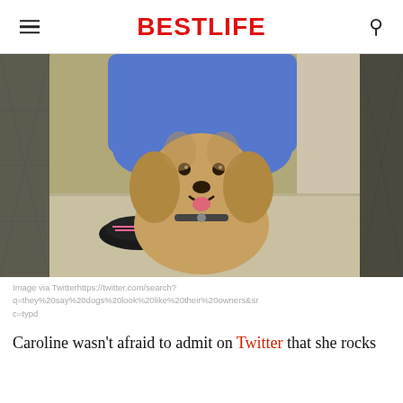BestLife
[Figure (photo): A golden cocker spaniel dog sitting on a sidewalk in front of a chain-link fence, with a person in blue shorts and black sneakers crouching behind it.]
Image via Twitterhttps://twitter.com/search?q=they%20say%20dogs%20look%20like%20their%20owners&src=typd
Caroline wasn't afraid to admit on Twitter that she rocks